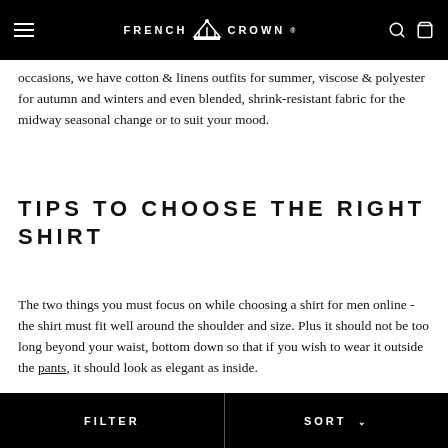French Crown
occasions, we have cotton & linens outfits for summer, viscose & polyester for autumn and winters and even blended, shrink-resistant fabric for the midway seasonal change or to suit your mood.
TIPS TO CHOOSE THE RIGHT SHIRT
The two things you must focus on while choosing a shirt for men online - the shirt must fit well around the shoulder and size. Plus it should not be too long beyond your waist, bottom down so that if you wish to wear it outside the pants, it should look as elegant as inside.
FILTER    SORT